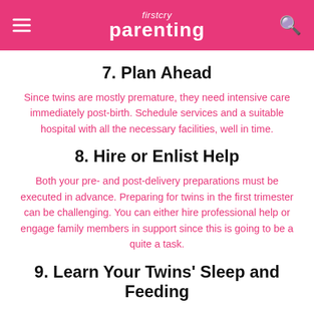firstcry parenting
7. Plan Ahead
Since twins are mostly premature, they need intensive care immediately post-birth. Schedule services and a suitable hospital with all the necessary facilities, well in time.
8. Hire or Enlist Help
Both your pre- and post-delivery preparations must be executed in advance. Preparing for twins in the first trimester can be challenging. You can either hire professional help or engage family members in support since this is going to be a quite a task.
9. Learn Your Twins' Sleep and Feeding